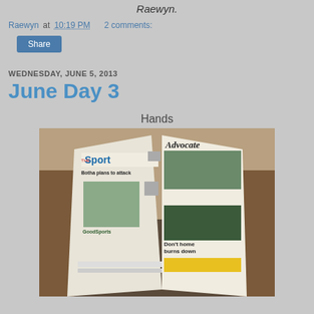Raewyn.
Raewyn at 10:19 PM    2 comments:
Share
WEDNESDAY, JUNE 5, 2013
June Day 3
Hands
[Figure (photo): Person holding up and reading a newspaper showing Sport section with headline 'Botha plans to attack' and Advocate newspaper front page with headline 'Don't home burns down', hands visible gripping the paper]